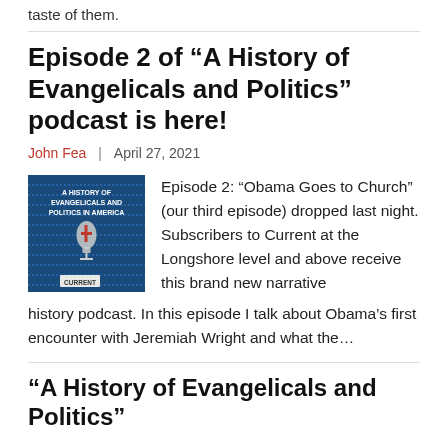taste of them.
Episode 2 of “A History of Evangelicals and Politics” podcast is here!
John Fea | April 27, 2021
[Figure (illustration): Podcast cover art for 'A History of Evangelicals and Politics in America' by Current, featuring blue striped background with a microphone and red cross icon.]
Episode 2: “Obama Goes to Church” (our third episode) dropped last night. Subscribers to Current at the Longshore level and above receive this brand new narrative history podcast. In this episode I talk about Obama’s first encounter with Jeremiah Wright and what the…
“A History of Evangelicals and Politics”